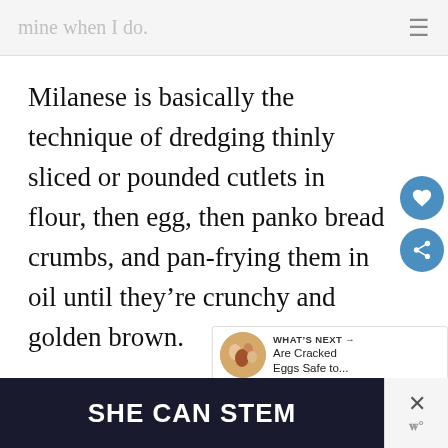mine when I do.
Milanese is basically the technique of dredging thinly sliced or pounded cutlets in flour, then egg, then panko bread crumbs, and pan-frying them in oil until they're crunchy and golden brown.
WHAT'S NEXT → Are Cracked Eggs Safe to...
[Figure (other): SHE CAN STEM advertisement banner with dark background and close button]
SHE CAN STEM